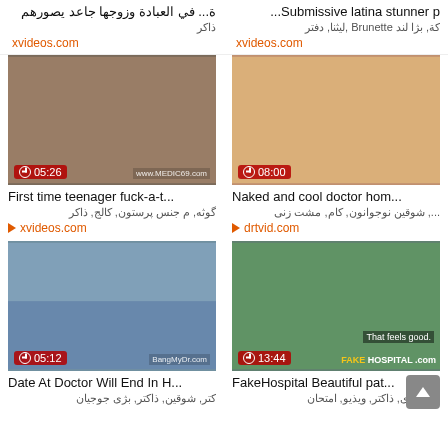ة... في العبادة وزوجها جاعد يصورهم | Submissive latina stunner p...
ذاكر | كة, بژا لند Brunette ,ليثنا, دفتر
xvideos.com | xvideos.com
[Figure (screenshot): Video thumbnail: First time teenager fuck-a-t... duration 05:26, source xvideos.com]
[Figure (screenshot): Video thumbnail: Naked and cool doctor hom... duration 08:00, source drtvid.com]
First time teenager fuck-a-t... | Naked and cool doctor hom...
گوثه, م جنس پرستون, کالج, ذاکر | ..., شوقین نوجوانون, کام, مشت زنی
xvideos.com | drtvid.com
[Figure (screenshot): Video thumbnail: Date At Doctor Will End In H... duration 05:12, source BangMyDr.com]
[Figure (screenshot): Video thumbnail: FakeHospital Beautiful pat... duration 13:44, source FAKE HOSPITAL .com]
Date At Doctor Will End In H... | FakeHospital Beautiful pat...
کتر, شوقین, ذاکتر, بژی جوجیان | بی او وی, ذاکتر, ویذیو, امتحان